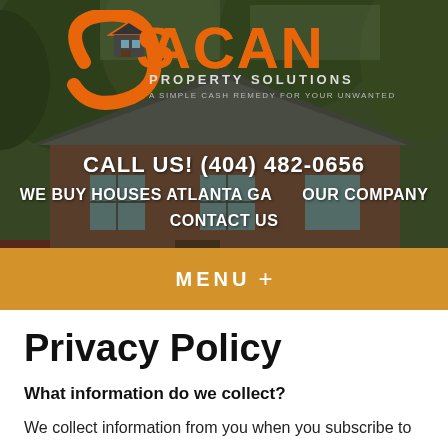[Figure (screenshot): Gacan Property Solutions website header with photo of a brick house, orange logo with house icon, navigation links including phone number, WE BUY HOUSES ATLANTA GA, OUR COMPANY, CONTACT US, and an orange MENU bar]
Privacy Policy
What information do we collect?
We collect information from you when you subscribe to